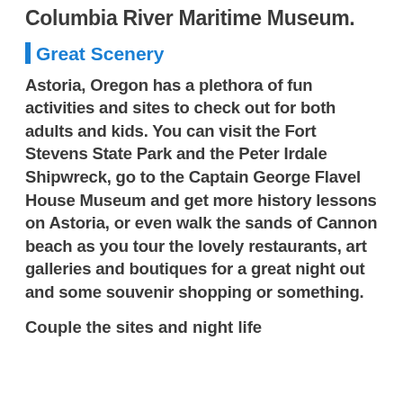Columbia River Maritime Museum.
Great Scenery
Astoria, Oregon has a plethora of fun activities and sites to check out for both adults and kids. You can visit the Fort Stevens State Park and the Peter Irdale Shipwreck, go to the Captain George Flavel House Museum and get more history lessons on Astoria, or even walk the sands of Cannon beach as you tour the lovely restaurants, art galleries and boutiques for a great night out and some souvenir shopping or something.
Couple the sites and night life